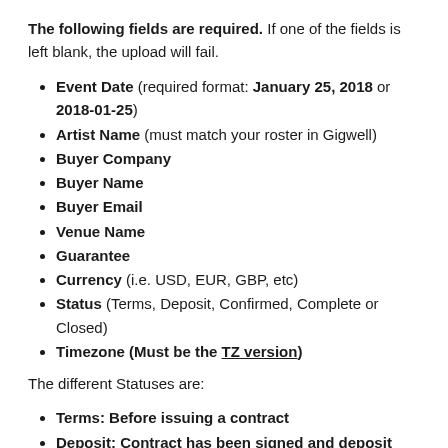The following fields are required. If one of the fields is left blank, the upload will fail.
Event Date (required format: January 25, 2018 or 2018-01-25)
Artist Name (must match your roster in Gigwell)
Buyer Company
Buyer Name
Buyer Email
Venue Name
Guarantee
Currency (i.e. USD, EUR, GBP, etc)
Status (Terms, Deposit, Confirmed, Complete or Closed)
Timezone (Must be the TZ version)
The different Statuses are:
Terms: Before issuing a contract
Deposit: Contract has been signed and deposit has been paid.